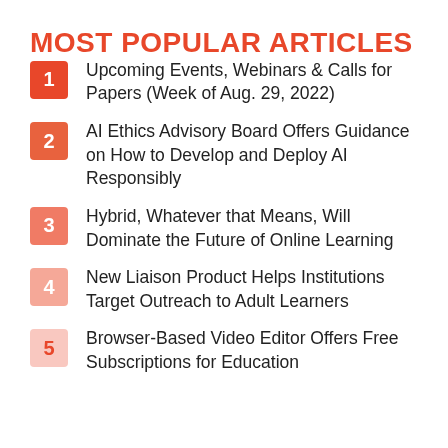MOST POPULAR ARTICLES
Upcoming Events, Webinars & Calls for Papers (Week of Aug. 29, 2022)
AI Ethics Advisory Board Offers Guidance on How to Develop and Deploy AI Responsibly
Hybrid, Whatever that Means, Will Dominate the Future of Online Learning
New Liaison Product Helps Institutions Target Outreach to Adult Learners
Browser-Based Video Editor Offers Free Subscriptions for Education